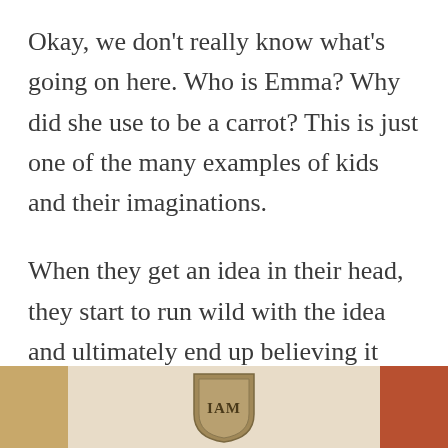Okay, we don't really know what's going on here. Who is Emma? Why did she use to be a carrot? This is just one of the many examples of kids and their imaginations.
When they get an idea in their head, they start to run wild with the idea and ultimately end up believing it themselves.
[Figure (photo): A partial view of a photo showing what appears to be a book or plaque with the text 'I AM' on it, with warm brown and orange tones on either side.]